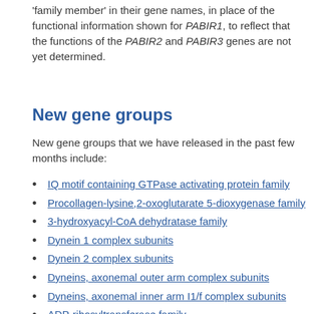'family member' in their gene names, in place of the functional information shown for PABIR1, to reflect that the functions of the PABIR2 and PABIR3 genes are not yet determined.
New gene groups
New gene groups that we have released in the past few months include:
IQ motif containing GTPase activating protein family
Procollagen-lysine,2-oxoglutarate 5-dioxygenase family
3-hydroxyacyl-CoA dehydratase family
Dynein 1 complex subunits
Dynein 2 complex subunits
Dyneins, axonemal outer arm complex subunits
Dyneins, axonemal inner arm I1/f complex subunits
ADP-ribosyltransferase family
…(truncated)